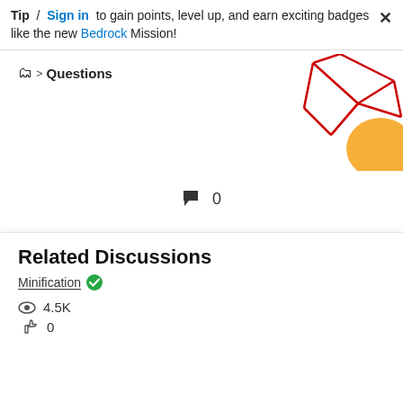Tip / Sign in to gain points, level up, and earn exciting badges like the new Bedrock Mission!
Questions
[Figure (illustration): Decorative geometric graphic with red lines forming triangular shapes and an orange circle, top-right corner]
0
1 Like
Translate
Reply
Related Discussions
Minification
4.5K
0